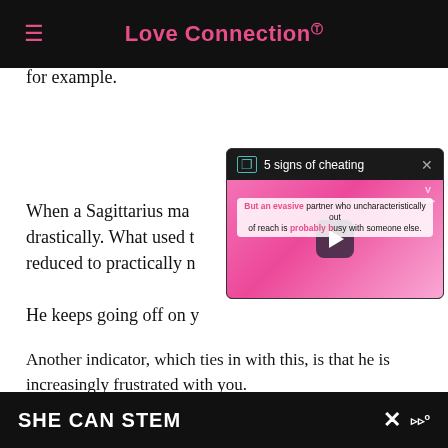Love Connection
natured … you'd laugh ab… throom, for example.
[Figure (screenshot): Pop-up video overlay titled '5 signs of cheating' with a pink video thumbnail showing a play button and caption: 'But an evasive partner who is uncharacteristically out of reach is probably busy with someone else.']
When a Sagittarius man… drastically. What used t… reduced to practically n…
He keeps going off on y…
Another indicator, which ties in with this, is that he is increasingly frustrated with you.
He starts cutting you off in the middle of sentences, leaving the room mid-discussion, etc.
SHE CAN STEM